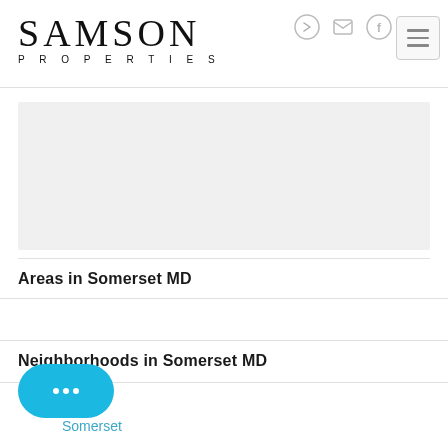[Figure (logo): Samson Properties logo with large serif SAMSON text and smaller spaced PROPERTIES below]
[Figure (other): Gray content placeholder block]
Areas in Somerset MD
Orange
Neighborhoods in Somerset MD
Somerset
[Figure (other): Blue chat bubble button with three dots icon]